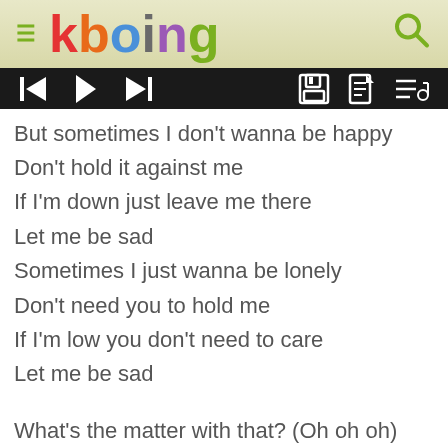kboing
But sometimes I don't wanna be happy
Don't hold it against me
If I'm down just leave me there
Let me be sad
Sometimes I just wanna be lonely
Don't need you to hold me
If I'm low you don't need to care
Let me be sad

What's the matter with that? (Oh oh oh)